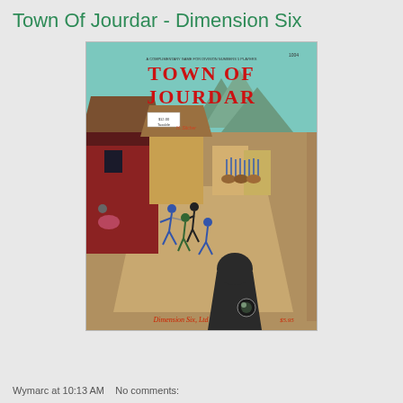Town Of Jourdar - Dimension Six
[Figure (photo): Book cover of 'Town Of Jourdar' by Dimension Six, Ltd. Shows a medieval fantasy scene with a town, soldiers on horseback, figures fighting in the street, and a hooded figure in the foreground. Title text in red gothic lettering. Price shown at bottom.]
Wymarc at 10:13 AM   No comments: